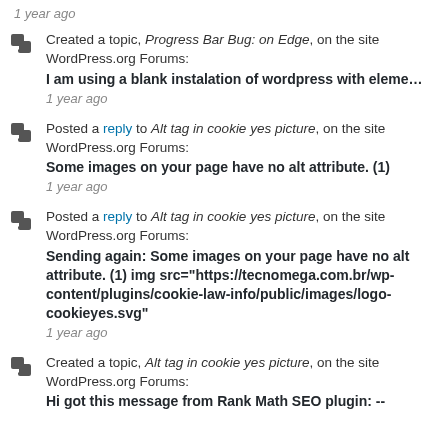1 year ago
Created a topic, Progress Bar Bug: on Edge, on the site WordPress.org Forums:
I am using a blank instalation of wordpress with eleme…
1 year ago
Posted a reply to Alt tag in cookie yes picture, on the site WordPress.org Forums:
Some images on your page have no alt attribute. (1)
1 year ago
Posted a reply to Alt tag in cookie yes picture, on the site WordPress.org Forums:
Sending again: Some images on your page have no alt attribute. (1) img src="https://tecnomega.com.br/wp-content/plugins/cookie-law-info/public/images/logo-cookieyes.svg"
1 year ago
Created a topic, Alt tag in cookie yes picture, on the site WordPress.org Forums:
Hi got this message from Rank Math SEO plugin: --